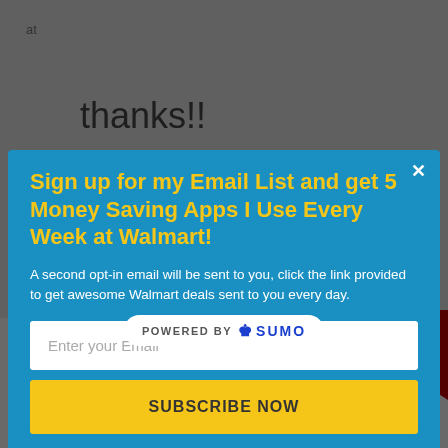at
thanks!!
[Figure (screenshot): Email subscription modal popup with blue background. Title in yellow: 'Sign up for my Email List and get 5 Money Saving Apps I Use Every Week at Walmart!'. White text: 'A second opt-in email will be sent to you, click the link provided to get awesome Walmart deals sent to you every day.' Email input field with placeholder 'Enter your Email' and yellow 'SUBSCRIBE NOW' button.]
[Figure (logo): POWERED BY SUMO badge at bottom of modal]
17 Shares
[Figure (infographic): Row of social media icon buttons: Facebook (blue), Twitter (light blue), Google+ (red), Pinterest (dark red) with 17 badge, Klout (dark blue)]